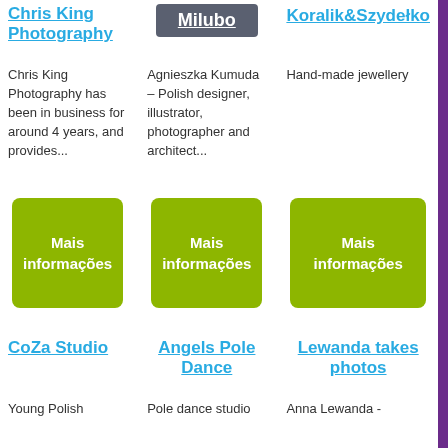Chris King Photography
Milubo
Koralik&Szydełko
Chris King Photography has been in business for around 4 years, and provides...
Agnieszka Kumuda – Polish designer, illustrator, photographer and architect...
Hand-made jewellery
Mais informações
Mais informações
Mais informações
CoZa Studio
Angels Pole Dance
Lewanda takes photos
Young Polish
Pole dance studio
Anna Lewanda -